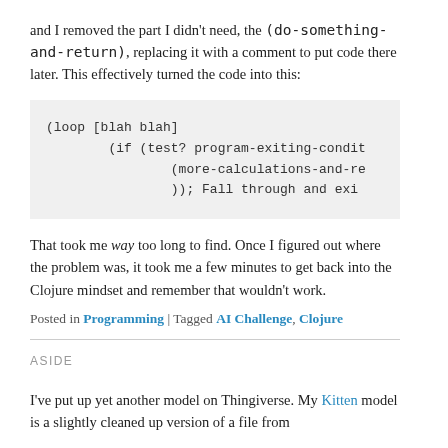and I removed the part I didn't need, the (do-something-and-return), replacing it with a comment to put code there later. This effectively turned the code into this:
(loop [blah blah]
        (if (test? program-exiting-condit
                (more-calculations-and-re
                )); Fall through and exi
That took me way too long to find. Once I figured out where the problem was, it took me a few minutes to get back into the Clojure mindset and remember that wouldn't work.
Posted in Programming | Tagged AI Challenge, Clojure
ASIDE
I've put up yet another model on Thingiverse. My Kitten model is a slightly cleaned up version of a file from